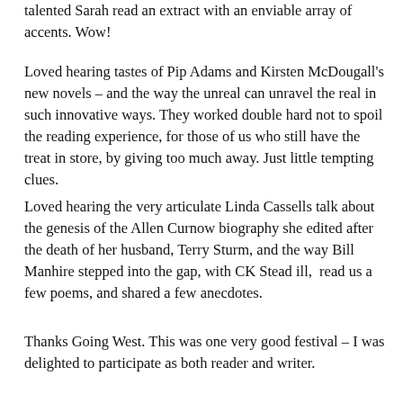talented Sarah read an extract with an enviable array of accents. Wow!
Loved hearing tastes of Pip Adams and Kirsten McDougall's new novels – and the way the unreal can unravel the real in such innovative ways. They worked double hard not to spoil the reading experience, for those of us who still have the treat in store, by giving too much away. Just little tempting clues.
Loved hearing the very articulate Linda Cassells talk about the genesis of the Allen Curnow biography she edited after the death of her husband, Terry Sturm, and the way Bill Manhire stepped into the gap, with CK Stead ill,  read us a few poems, and shared a few anecdotes.
Thanks Going West. This was one very good festival – I was delighted to participate as both reader and writer.